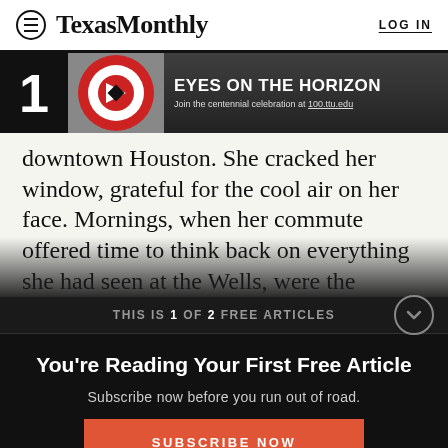Texas Monthly | LOG IN
[Figure (screenshot): Texas Tech University '100 Years - Eyes on the Horizon' advertisement banner. Join the centennial celebration at 100.ttu.edu]
downtown Houston. She cracked her window, grateful for the cool air on her face. Mornings, when her commute offered time to think back on everything she had seen at the Wells, were the
THIS IS 1 OF 2 FREE ARTICLES
You're Reading Your First Free Article
Subscribe now before you run out of road.
SUBSCRIBE NOW
Already a subscriber? Log in